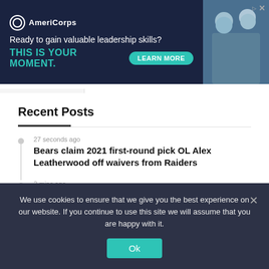[Figure (screenshot): AmeriCorps advertisement banner. Dark navy background with AmeriCorps logo. Text: 'Ready to gain valuable leadership skills?' and 'THIS IS YOUR MOMENT.' with teal colored headline and 'LEARN MORE' button. Photo of people on the right side.]
Recent Posts
27 seconds ago
Bears claim 2021 first-round pick OL Alex Leatherwood off waivers from Raiders
2 mins ago
Former MSU basketball player Joshua Langford helps others pursue passions in new role at MSU
7 mins ago
We use cookies to ensure that we give you the best experience on our website. If you continue to use this site we will assume that you are happy with it.